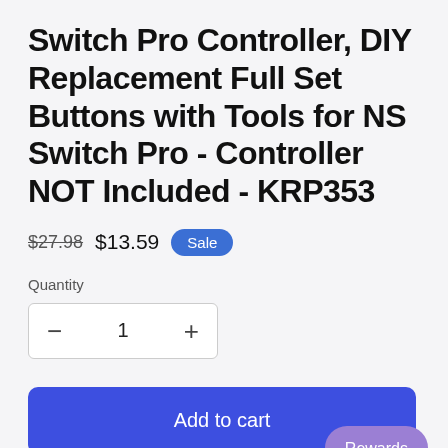Switch Pro Controller, DIY Replacement Full Set Buttons with Tools for NS Switch Pro - Controller NOT Included - KRP353
$27.98  $13.59  Sale
Quantity
− 1 +
Add to cart
Rewards
Tired of your boring standard color?